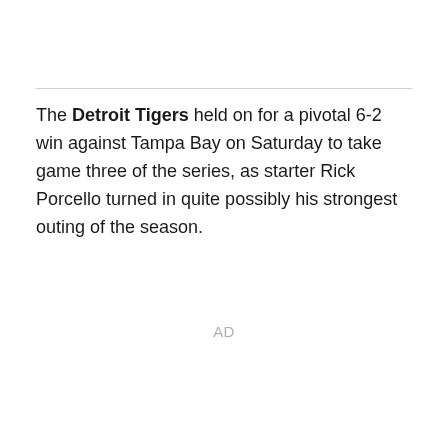The Detroit Tigers held on for a pivotal 6-2 win against Tampa Bay on Saturday to take game three of the series, as starter Rick Porcello turned in quite possibly his strongest outing of the season.
AD